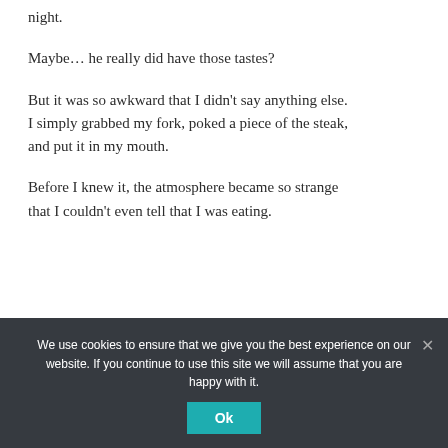night.
Maybe… he really did have those tastes?
But it was so awkward that I didn't say anything else. I simply grabbed my fork, poked a piece of the steak, and put it in my mouth.
Before I knew it, the atmosphere became so strange that I couldn't even tell that I was eating.
We use cookies to ensure that we give you the best experience on our website. If you continue to use this site we will assume that you are happy with it.